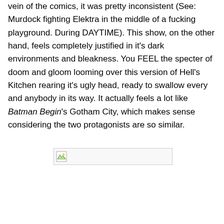vein of the comics, it was pretty inconsistent (See: Murdock fighting Elektra in the middle of a fucking playground. During DAYTIME). This show, on the other hand, feels completely justified in it's dark environments and bleakness. You FEEL the specter of doom and gloom looming over this version of Hell's Kitchen rearing it's ugly head, ready to swallow every and anybody in its way. It actually feels a lot like Batman Begin's Gotham City, which makes sense considering the two protagonists are so similar.
[Figure (other): A broken/missing image placeholder icon with a small landscape thumbnail icon on the left side of a wide rectangular box]